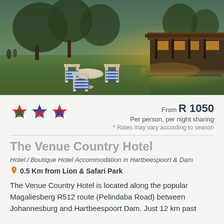[Figure (photo): Outdoor evening photo of hotel grounds featuring garden furniture with blue and white striped cushions, a round table with ornate metal chairs in the foreground, a green lawn, trees, and a lit pavilion/restaurant structure in the background at dusk.]
From R 1050
Per person, per night sharing
* Rates may vary according to season
The Venue Country Hotel
Hotel / Boutique Hotel Accommodation in Hartbeespoort & Dam
0.5 Km from Lion & Safari Park
The Venue Country Hotel is located along the popular Magaliesberg R512 route (Pelindaba Road) between Johannesburg and Hartbeespoort Dam. Just 12 km past